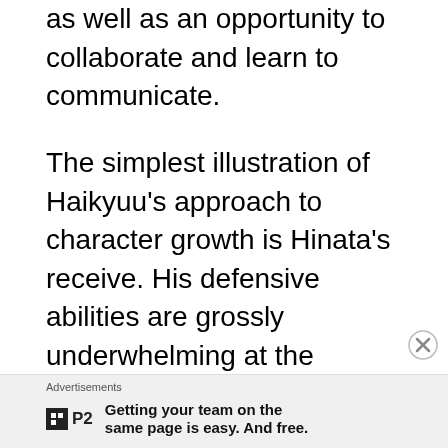as well as an opportunity to collaborate and learn to communicate.
The simplest illustration of Haikyuu’s approach to character growth is Hinata’s receive. His defensive abilities are grossly underwhelming at the beginning, as the receive requires technique honed over thousands of individual receives. As such, managing to keep the ball in play is the best he can hope for, with no accuracy or consistency.
But in the match against Inarizaki High, Hinata receives the ball with…well, not ease. The impact of the ball forces him to do a complete somersault.
Advertisements
[Figure (logo): P2 app logo with tagline: Getting your team on the same page is easy. And free.]